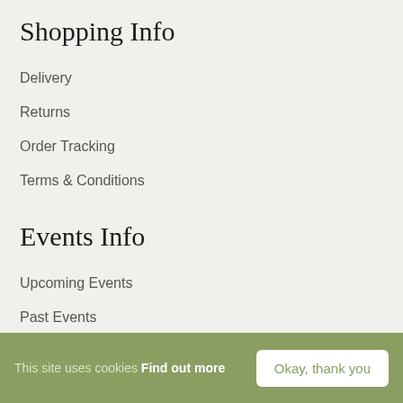Shopping Info
Delivery
Returns
Order Tracking
Terms & Conditions
Events Info
Upcoming Events
Past Events
Become A Stall Holder
This site uses cookies Find out more  Okay, thank you